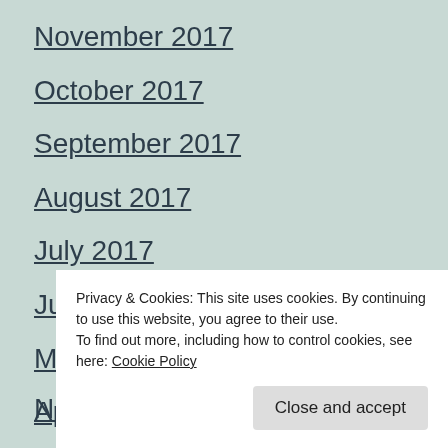November 2017
October 2017
September 2017
August 2017
July 2017
June 2017
May 2017
April 2017
March 2017
November 2016
Privacy & Cookies: This site uses cookies. By continuing to use this website, you agree to their use. To find out more, including how to control cookies, see here: Cookie Policy